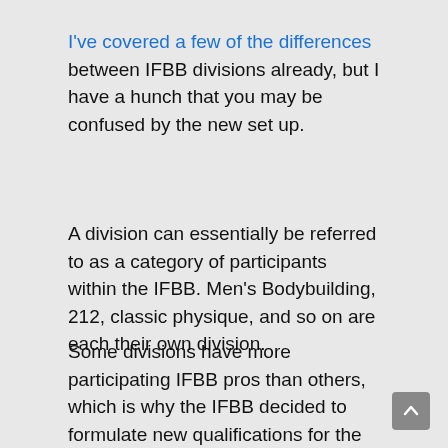I've covered a few of the differences between IFBB divisions already, but I have a hunch that you may be confused by the new set up.
A division can essentially be referred to as a category of participants within the IFBB. Men's Bodybuilding, 212, classic physique, and so on are each their own division.
Some divisions have more participating IFBB pros than others, which is why the IFBB decided to formulate new qualifications for the Olympia. More than 25 contests means there are at least 25 or more bouts of participants in that division. The sheer number of participants in these divisions is the reason why more people qualify